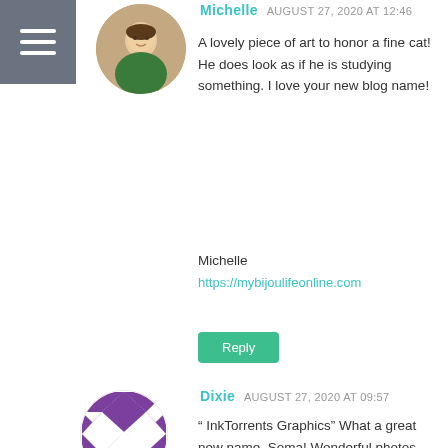[Figure (illustration): Hamburger menu icon with three white horizontal lines on gray background]
[Figure (photo): Circular avatar photo of Michelle, a woman in green]
Michelle AUGUST 27, 2020 AT 12:46
A lovely piece of art to honor a fine cat! He does look as if he is studying something. I love your new blog name!

Michelle
https://mybijoulifeonline.com
Reply
[Figure (illustration): Circular avatar with purple and white diamond/checker pattern for Dixie]
Dixie AUGUST 27, 2020 AT 09:57
“ InkTorrents Graphics” What a great new name, Soma! Wonderful photos. And, oh I love the shapes of the ink jars and pots.